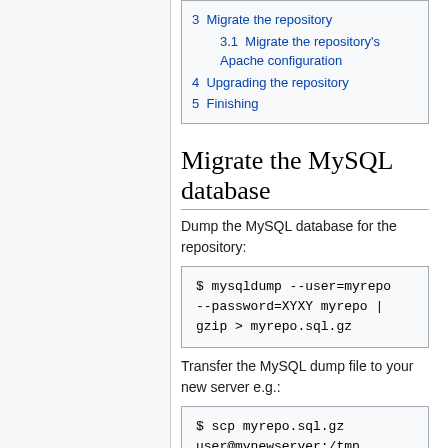3  Migrate the repository
3.1  Migrate the repository's Apache configuration
4  Upgrading the repository
5  Finishing
Migrate the MySQL database
Dump the MySQL database for the repository:
$ mysqldump --user=myrepo --password=XYXY myrepo | gzip > myrepo.sql.gz
Transfer the MySQL dump file to your new server e.g.:
$ scp myrepo.sql.gz user@mynewserver:/tmp